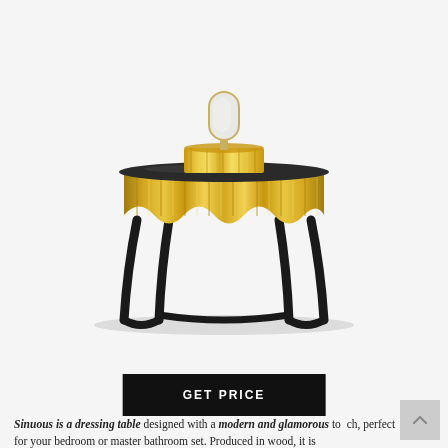[Figure (photo): A luxurious golden dressing table with wavy/sinuous gold-finished front panels, a black glass top, black curved legs, and a small oval mirror mounted on the back center of the table surface.]
GET PRICE
Sinuous is a dressing table designed with a modern and glamorous to perfect for your bedroom or master bathroom set. Produced in wood, it is